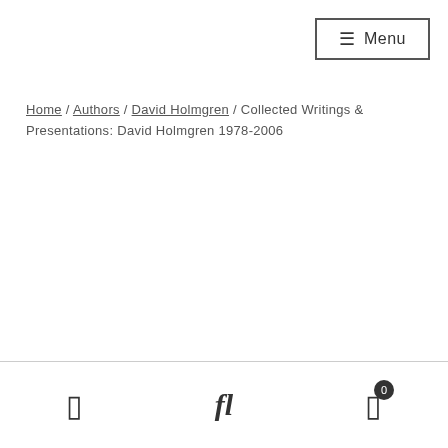≡ Menu
Home / Authors / David Holmgren / Collected Writings & Presentations: David Holmgren 1978-2006
□ fl □ 0